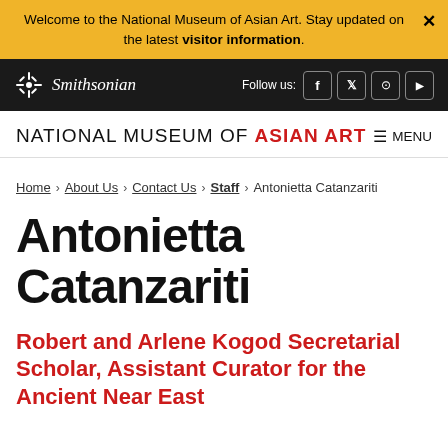Welcome to the National Museum of Asian Art. Stay updated on the latest visitor information.
[Figure (logo): Smithsonian Institution logo with snowflake emblem and italic Smithsonian text, social media icons for Facebook, Twitter, Instagram, YouTube on dark background]
NATIONAL MUSEUM of ASIAN ART — MENU
Home > About Us > Contact Us > Staff > Antonietta Catanzariti
Antonietta Catanzariti
Robert and Arlene Kogod Secretarial Scholar, Assistant Curator for the Ancient Near East